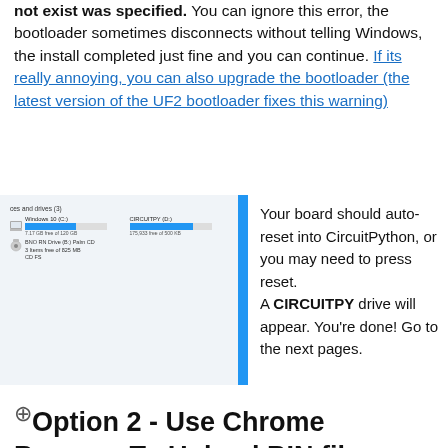not exist was specified. You can ignore this error, the bootloader sometimes disconnects without telling Windows, the install completed just fine and you can continue. If its really annoying, you can also upgrade the bootloader (the latest version of the UF2 bootloader fixes this warning)
[Figure (screenshot): Windows File Explorer showing drives: Windows 10 (C:) with a blue progress bar and free space label, CIRCUITPY (D:) with a blue progress bar and free space label, and BNO RN Drive (B:) Palm CD entry with icon and details.]
Your board should auto-reset into CircuitPython, or you may need to press reset. A CIRCUITPY drive will appear. You're done! Go to the next pages.
Option 2 - Use Chrome Browser To Upload BIN file